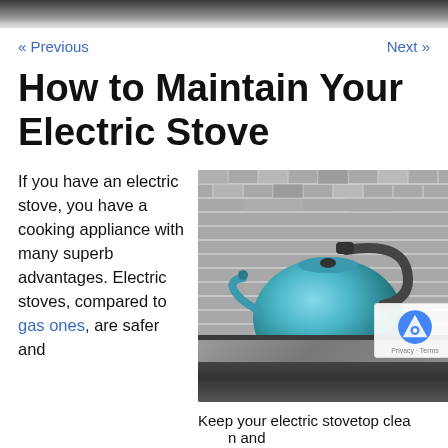[Figure (photo): Dark kitchen countertop and tile backsplash visible at top of page]
« Previous    Next »
How to Maintain Your Electric Stove
If you have an electric stove, you have a cooking appliance with many superb advantages. Electric stoves, compared to gas ones, are safer and
[Figure (photo): Blue/teal kettle sitting on a dark glass electric stovetop with a mosaic tile backsplash behind it]
Keep your electric stovetop clean and